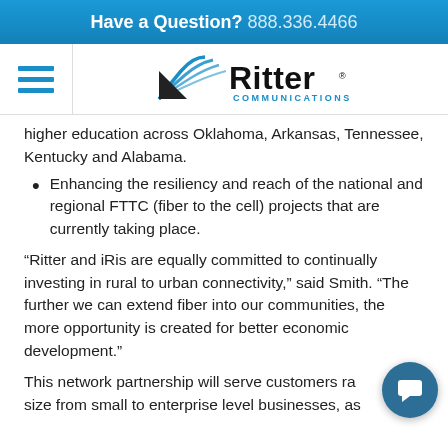Have a Question? 888.336.4466
[Figure (logo): Ritter Communications logo with hamburger menu icon]
higher education across Oklahoma, Arkansas, Tennessee, Kentucky and Alabama.
Enhancing the resiliency and reach of the national and regional FTTC (fiber to the cell) projects that are currently taking place.
“Ritter and iRis are equally committed to continually investing in rural to urban connectivity,” said Smith. “The further we can extend fiber into our communities, the more opportunity is created for better economic development.”
This network partnership will serve customers ranging in size from small to enterprise level businesses, as